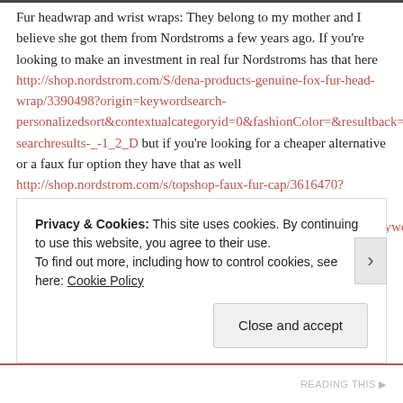Fur headwrap and wrist wraps: They belong to my mother and I believe she got them from Nordstroms a few years ago. If you're looking to make an investment in real fur Nordstroms has that here http://shop.nordstrom.com/S/dena-products-genuine-fox-fur-head-wrap/3390498?origin=keywordsearch-personalizedsort&contextualcategoryid=0&fashionColor=&resultback=_-searchresults-_-1_2_D but if you're looking for a cheaper alternative or a faux fur option they have that as well http://shop.nordstrom.com/s/topshop-faux-fur-cap/3616470?cm_sp=personalizedsort-_-searchresults-_-1_4_C&contextualcategoryid=0&fashionColor=Black&origin=keywordsort&personalizedsort&resultback=1300 now I couldn't find the fur wristlets but here are some gloves that give a similar
Privacy & Cookies: This site uses cookies. By continuing to use this website, you agree to their use. To find out more, including how to control cookies, see here: Cookie Policy
Close and accept